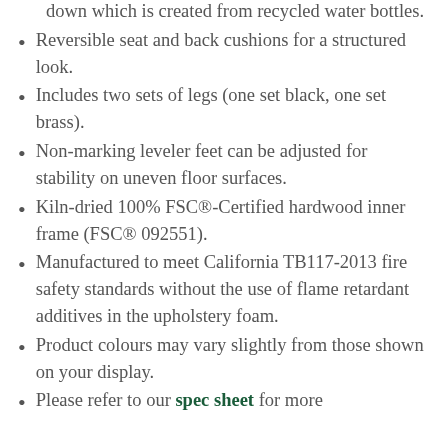down which is created from recycled water bottles.
Reversible seat and back cushions for a structured look.
Includes two sets of legs (one set black, one set brass).
Non-marking leveler feet can be adjusted for stability on uneven floor surfaces.
Kiln-dried 100% FSC®-Certified hardwood inner frame (FSC® 092551).
Manufactured to meet California TB117-2013 fire safety standards without the use of flame retardant additives in the upholstery foam.
Product colours may vary slightly from those shown on your display.
Please refer to our spec sheet for more